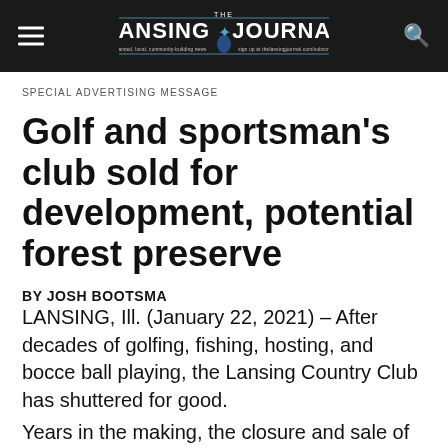THE LANSING JOURNAL
SPECIAL ADVERTISING MESSAGE
Golf and sportsman's club sold for development, potential forest preserve
BY JOSH BOOTSMA
LANSING, Ill. (January 22, 2021) – After decades of golfing, fishing, hosting, and bocce ball playing, the Lansing Country Club has shuttered for good.
Years in the making, the closure and sale of the 79-year-old club came about as membership numbers